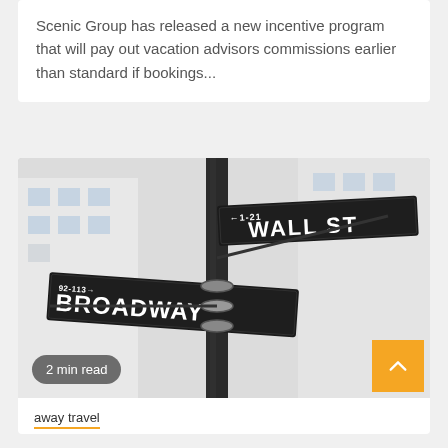Scenic Group has released a new incentive program that will pay out vacation advisors commissions earlier than standard if bookings...
[Figure (photo): Street sign photo showing the intersection of Broadway and Wall St in New York City, with black street signs on a pole against a blurred building background]
2 min read
away travel